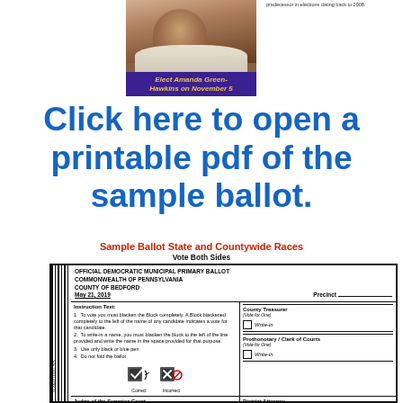[Figure (photo): Photo of Amanda Green-Hawkins with purple banner reading 'Elect Amanda Green-Hawkins on November 5']
predecessor in elections dating back to 2008.
Click here to open a printable pdf of the sample ballot.
Sample Ballot State and Countywide Races
Vote Both Sides
[Figure (other): Official Democratic Municipal Primary Ballot sample showing Commonwealth of Pennsylvania, County of Bedford, May 21 2019, with voting instructions, County Treasurer write-in, Prothonotary / Clerk of Courts write-in, District Attorney write-in, Judge of the Superior Court write-in, and correct/incorrect marking icons. Barcode strip on left side with number 0240100155.]